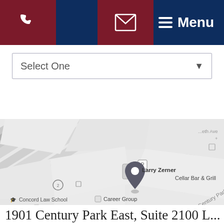[Figure (screenshot): Website navigation bar with phone icon (dark red background), email icon (dark red background), and Menu button (dark navy background) with hamburger icon]
[Figure (screenshot): Dropdown select input field labeled 'Select One' with a down arrow on the right]
[Figure (map): Google Maps screenshot showing Larry Zerner law office location near Century Park E, with nearby labels: Cellar Bar & Grill, Career Group, Concord Law School, Wells Fargo Bank, The Lovell Firm, Lemoine Law Firm]
1901 Century Park East, Suite 2100 L...